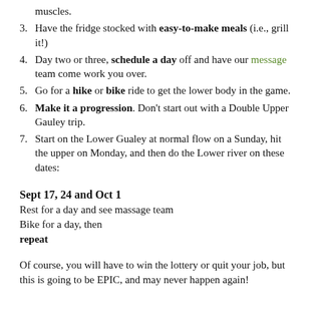muscles.
Have the fridge stocked with easy-to-make meals (i.e., grill it!)
Day two or three, schedule a day off and have our message team come work you over.
Go for a hike or bike ride to get the lower body in the game.
Make it a progression. Don’t start out with a Double Upper Gauley trip.
Start on the Lower Gualey at normal flow on a Sunday, hit the upper on Monday, and then do the Lower river on these dates:
Sept 17, 24 and Oct 1
Rest for a day and see massage team
Bike for a day, then
repeat
Of course, you will have to win the lottery or quit your job, but this is going to be EPIC, and may never happen again!